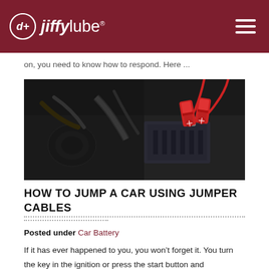Jiffy Lube
on, you need to know how to respond. Here ...
[Figure (photo): Close-up photo of red jumper cables connected to a car battery terminal in a dark engine bay]
HOW TO JUMP A CAR USING JUMPER CABLES
Posted under Car Battery
If it has ever happened to you, you won't forget it. You turn the key in the ignition or press the start button and